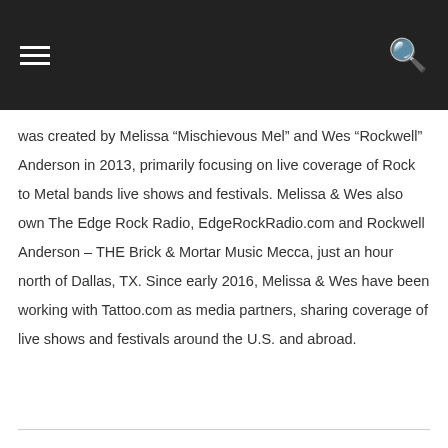was created by Melissa “Mischievous Mel” and Wes “Rockwell” Anderson in 2013, primarily focusing on live coverage of Rock to Metal bands live shows and festivals. Melissa & Wes also own The Edge Rock Radio, EdgeRockRadio.com and Rockwell Anderson – THE Brick & Mortar Music Mecca, just an hour north of Dallas, TX. Since early 2016, Melissa & Wes have been working with Tattoo.com as media partners, sharing coverage of live shows and festivals around the U.S. and abroad.